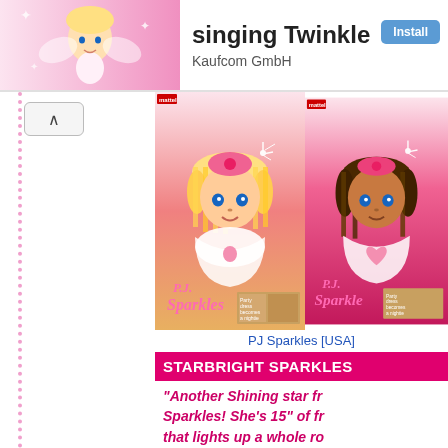singing Twinkle
Kaufcom GmbH
[Figure (photo): Animated character with pink background - app header image]
[Figure (photo): PJ Sparkles doll box art - blonde doll with sparkle effects, PJ Sparkles logo, thumbnail showing transformation]
[Figure (photo): PJ Sparkles doll box art - brunette doll with sparkle effects, PJ Sparkles logo]
PJ Sparkles [USA]
STARBRIGHT SPARKLES
"Another Shining star from PJ Sparkles! She's 15" of fr that lights up a whole ro Hug her and light sparkl to her toes! Her earring